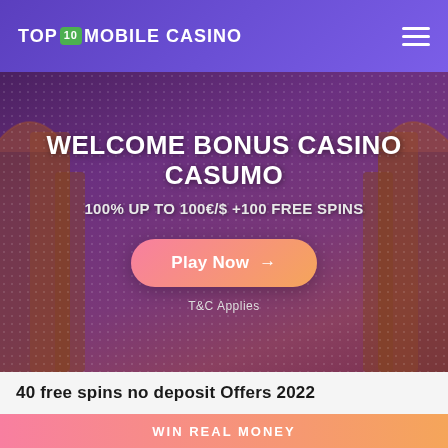TOP 10 MOBILE CASINO
[Figure (screenshot): Casino hero banner with dark purple/wine background showing decorative arches and pillars. Overlay text reads: WELCOME BONUS CASINO CASUMO, 100% UP TO 100€/$ +100 FREE SPINS. Pink-to-orange gradient Play Now button with arrow. T&C Applies text below button.]
WELCOME BONUS CASINO CASUMO
100% UP TO 100€/$ +100 FREE SPINS
Play Now →
T&C Applies
40 free spins no deposit Offers 2022
WIN REAL MONEY